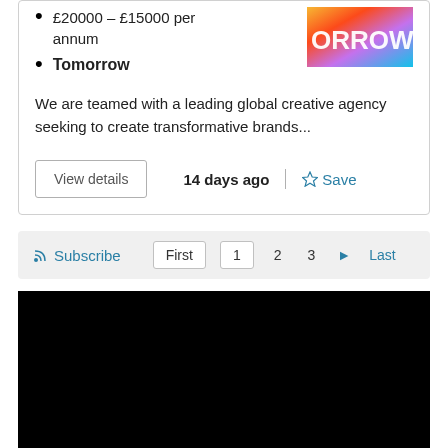£20000 - £15000 per annum
Tomorrow
We are teamed with a leading global creative agency seeking to create transformative brands...
[Figure (photo): Colorful gradient image with text 'ORROW...' in white letters on pink/purple/green gradient background]
View details
14 days ago
Save
Subscribe  First  1  2  3  ▶  Last
[Figure (photo): Black rectangle, content not visible]